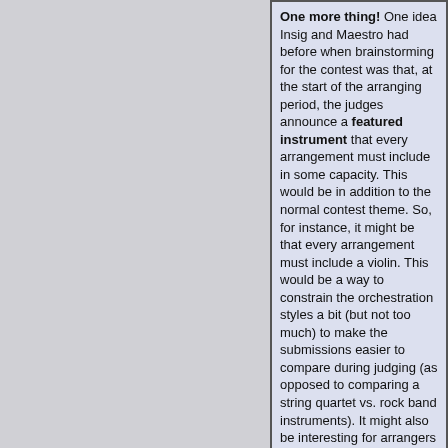One more thing! One idea Insig and Maestro had before when brainstorming for the contest was that, at the start of the arranging period, the judges announce a featured instrument that every arrangement must include in some capacity. This would be in addition to the normal contest theme. So, for instance, it might be that every arrangement must include a violin. This would be a way to constrain the orchestration styles a bit (but not too much) to make the submissions easier to compare during judging (as opposed to comparing a string quartet vs. rock band instruments). It might also be interesting for arrangers to figure out how to incorporate the featured instrument into the contest theme. Thoughts on this? Please discuss if you have opinions for or against this idea!
« Last Edit: June 27, 2022, 06:14:56 AM by mastersuperfan »
Logged
Quote from: NocturneOfShadow on February 12, 2016, 12:00:36 AM
there's also a huge difference in quality between 2009 songs and